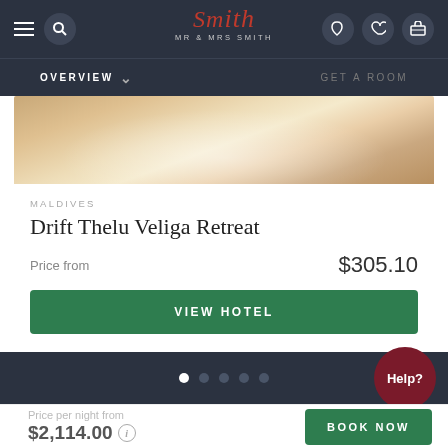[Figure (screenshot): Mr & Mrs Smith hotel booking app interface showing navigation bar with hamburger menu, search icon, logo, phone, heart, and luggage icons]
OVERVIEW
GET A ROOM
[Figure (photo): Hotel room or spa aerial view showing warm beige tones, draped fabric, and ambient lighting]
MALDIVES
Drift Thelu Veliga Retreat
Price from
$305.10
VIEW HOTEL
Help?
Price per night from
$2,114.00
BOOK NOW